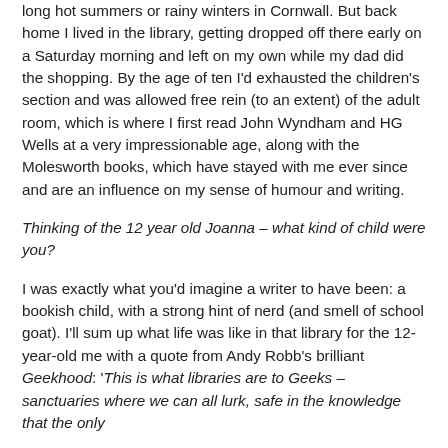long hot summers or rainy winters in Cornwall. But back home I lived in the library, getting dropped off there early on a Saturday morning and left on my own while my dad did the shopping. By the age of ten I'd exhausted the children's section and was allowed free rein (to an extent) of the adult room, which is where I first read John Wyndham and HG Wells at a very impressionable age, along with the Molesworth books, which have stayed with me ever since and are an influence on my sense of humour and writing.
Thinking of the 12 year old Joanna – what kind of child were you?
I was exactly what you'd imagine a writer to have been: a bookish child, with a strong hint of nerd (and smell of school goat). I'll sum up what life was like in that library for the 12-year-old me with a quote from Andy Robb's brilliant Geekhood: 'This is what libraries are to Geeks – sanctuaries where we can all lurk, safe in the knowledge that the only